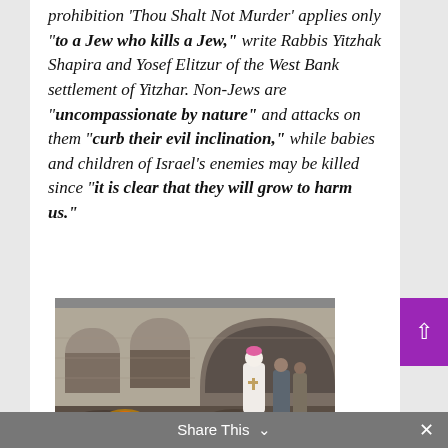prohibition 'Thou Shalt Not Murder' applies only "to a Jew who kills a Jew," write Rabbis Yitzhak Shapira and Yosef Elitzur of the West Bank settlement of Yitzhar. Non-Jews are "uncompassionate by nature" and attacks on them "curb their evil inclination," while babies and children of Israel's enemies may be killed since "it is clear that they will grow to harm us."
[Figure (photo): A clergyman in white robes and pink skullcap walks through a burned, destroyed stone building, accompanied by other people. Debris and charred remains are visible on the ground.]
Share This ∨  ✕